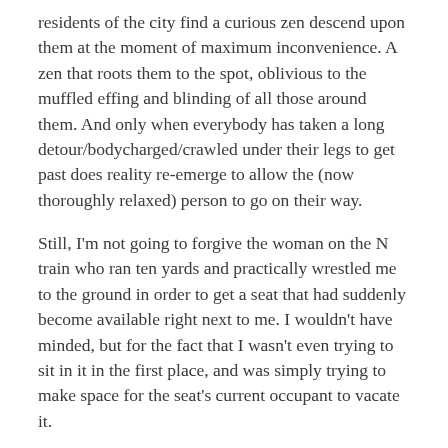residents of the city find a curious zen descend upon them at the moment of maximum inconvenience. A zen that roots them to the spot, oblivious to the muffled effing and blinding of all those around them. And only when everybody has taken a long detour/bodycharged/crawled under their legs to get past does reality re-emerge to allow the (now thoroughly relaxed) person to go on their way.
Still, I'm not going to forgive the woman on the N train who ran ten yards and practically wrestled me to the ground in order to get a seat that had suddenly become available right next to me. I wouldn't have minded, but for the fact that I wasn't even trying to sit in it in the first place, and was simply trying to make space for the seat's current occupant to vacate it.
Everybody has their place, and who can deny them that? This person was just lucky that her place wasn't her local A&EER, given the dagger looks I shot her for the rest of the journey.